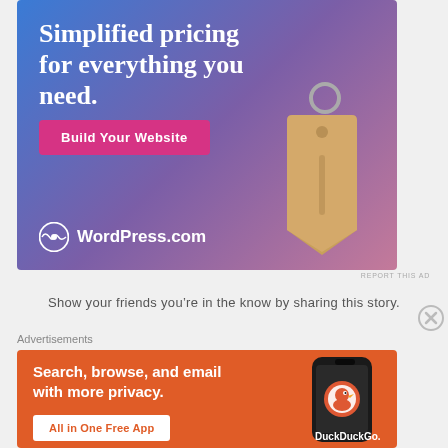[Figure (illustration): WordPress.com advertisement with gradient blue-purple background, price tag graphic, 'Simplified pricing for everything you need.' headline, pink 'Build Your Website' button, and WordPress.com logo]
REPORT THIS AD
Show your friends you're in the know by sharing this story.
Advertisements
[Figure (illustration): DuckDuckGo advertisement with orange background, smartphone showing DuckDuckGo app, 'Search, browse, and email with more privacy.' text, and 'All in One Free App' button]